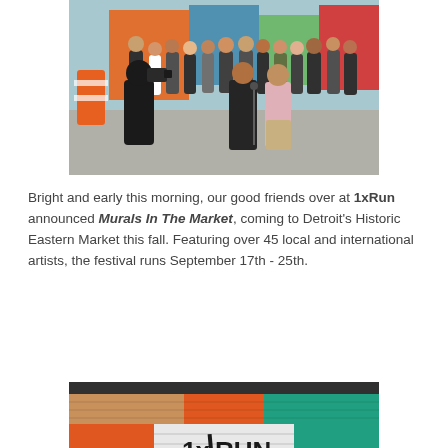[Figure (photo): Outdoor group photo with people gathered in front of a colorful mural. A person in black holds a camera filming two men speaking, one in dark clothing and one in a pink shirt, while a crowd watches.]
Bright and early this morning, our good friends over at 1xRun announced Murals In The Market, coming to Detroit's Historic Eastern Market this fall. Featuring over 45 local and international artists, the festival runs September 17th - 25th.
[Figure (photo): Close-up of a colorful brick wall mural with orange, tan, teal, and gray painted brick sections. In the center on a white brick section is the '1x RUN presents' logo in bold black lettering.]